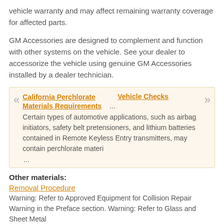vehicle warranty and may affect remaining warranty coverage for affected parts.
GM Accessories are designed to complement and function with other systems on the vehicle. See your dealer to accessorize the vehicle using genuine GM Accessories installed by a dealer technician.
California Perchlorate Materials Requirements ... Vehicle Checks ...
Certain types of automotive applications, such as airbag initiators, safety belt pretensioners, and lithium batteries contained in Remote Keyless Entry transmitters, may contain perchlorate materi ...
Other materials:
Removal Procedure
Warning: Refer to Approved Equipment for Collision Repair Warning in the Preface section. Warning: Refer to Glass and Sheet Metal